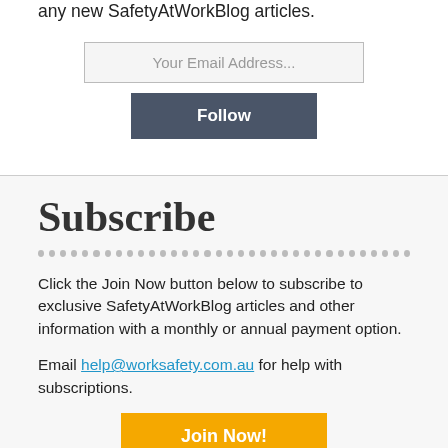any new SafetyAtWorkBlog articles.
Your Email Address...
Follow
Subscribe
Click the Join Now button below to subscribe to exclusive SafetyAtWorkBlog articles and other information with a monthly or annual payment option.
Email help@worksafety.com.au for help with subscriptions.
Join Now!